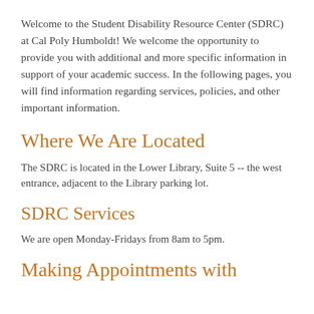Welcome to the Student Disability Resource Center (SDRC) at Cal Poly Humboldt!  We welcome the opportunity to provide you with additional and more specific information in support of your academic success.  In the following pages, you will find information regarding services, policies, and other important information.
Where We Are Located
The SDRC is located in the Lower Library, Suite 5 -- the west entrance, adjacent to the Library parking lot.
SDRC Services
We are open Monday-Fridays from 8am to 5pm.
Making Appointments with